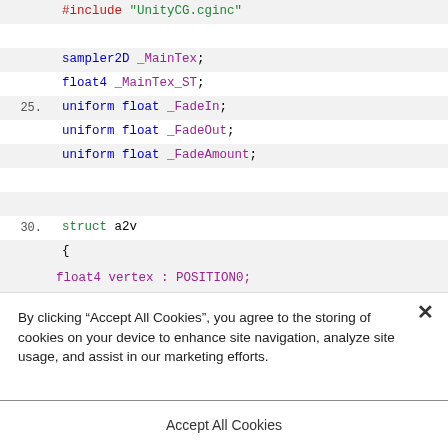[Figure (screenshot): Code editor screenshot showing shader code with line numbers. Lines include #include 'UnityCG.cginc', sampler2D _MainTex, float4 _MainTex_ST, uniform float _FadeIn, uniform float _FadeOut, uniform float _FadeAmount, struct a2v, {, and float4 vertex : POSITION0; (truncated). Line numbers visible: 25 and 30.]
By clicking “Accept All Cookies”, you agree to the storing of cookies on your device to enhance site navigation, analyze site usage, and assist in our marketing efforts.
Cookies Settings
Accept All Cookies